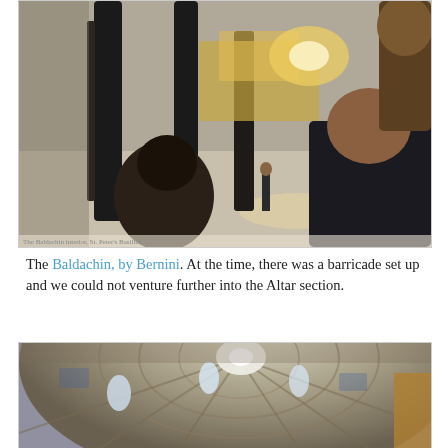[Figure (photo): Interior of St. Peter's Basilica showing the Baldachin by Bernini — tall twisted dark bronze columns rising up, ornate gilded altar in the background, two people visible in the foreground viewing the scene, marble floors with pattern, figure standing in the middle distance.]
The Baldachin, by Bernini. At the time, there was a barricade set up and we could not venture further into the Altar section.
[Figure (photo): Looking up at the interior dome of St. Peter's Basilica — ornate coffered dome with decorative painted panels, windows letting in light, blue and gold mosaic decoration, ribbed structure converging at the lantern at the top.]